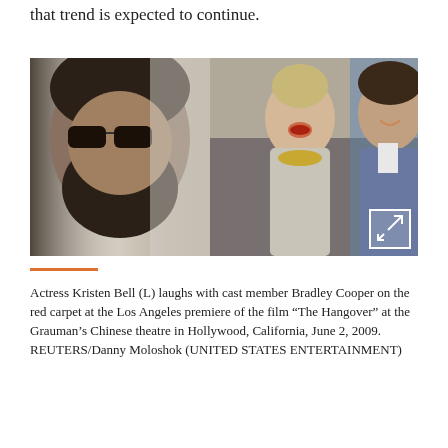that trend is expected to continue.
[Figure (photo): Actress Kristen Bell (L) laughs with cast member Bradley Cooper on the red carpet at the Los Angeles premiere of The Hangover. A movie poster showing a bearded man with sunglasses is visible on the left. An expand/zoom icon is in the bottom right corner of the photo.]
Actress Kristen Bell (L) laughs with cast member Bradley Cooper on the red carpet at the Los Angeles premiere of the film “The Hangover” at the Grauman’s Chinese theatre in Hollywood, California, June 2, 2009. REUTERS/Danny Moloshok (UNITED STATES ENTERTAINMENT)